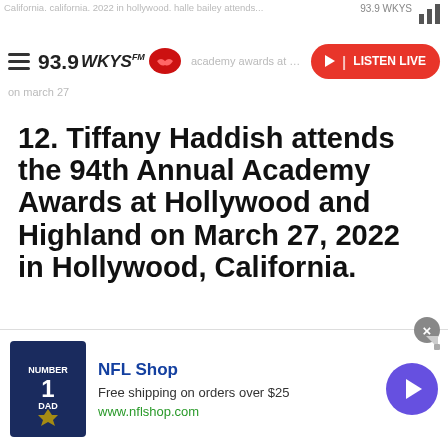California. california. 2022 in hollywood. halle bailey attends... 93.9 WKYS
93.9 WKYS academy awards at hollywood and highland on march 27
12. Tiffany Haddish attends the 94th Annual Academy Awards at Hollywood and Highland on March 27, 2022 in Hollywood, California.
[Figure (photo): Photo of Tiffany Haddish at the 94th Annual Academy Awards red carpet, woman with short blonde hair, with an Oscar statuette visible in background]
NFL Shop
Free shipping on orders over $25
www.nflshop.com